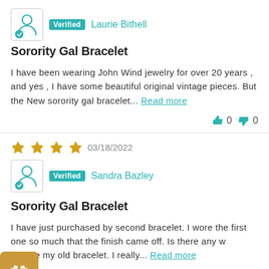[Figure (illustration): Verified reviewer avatar icon with teal checkmark, badge 'Verified', and reviewer name 'Laurie Bithell']
Sorority Gal Bracelet
I have been wearing John Wind jewelry for over 20 years , and yes , I have some beautiful original vintage pieces. But the New sorority gal bracelet... Read more
0  0 (thumbs up/down votes)
[Figure (illustration): Four gold stars rating, date 03/18/2022, verified reviewer avatar with teal checkmark, badge 'Verified', reviewer name 'Sandra Bazley']
Sorority Gal Bracelet
I have just purchased by second bracelet. I wore the first one so much that the finish came off. Is there any way to restore my old bracelet. I really... Read more
0  0 (thumbs up/down votes)